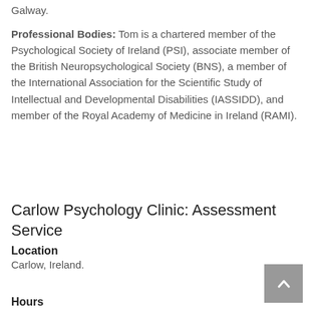Galway.
Professional Bodies: Tom is a chartered member of the Psychological Society of Ireland (PSI), associate member of the British Neuropsychological Society (BNS), a member of the International Association for the Scientific Study of Intellectual and Developmental Disabilities (IASSIDD), and member of the Royal Academy of Medicine in Ireland (RAMI).
Carlow Psychology Clinic: Assessment Service
Location
Carlow, Ireland.
Hours